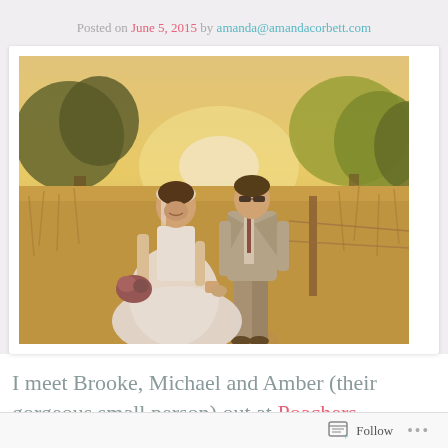Posted on June 5, 2015 by amanda@amandacorbett.com
[Figure (photo): Outdoor wedding photo of a bride in a white dress holding a bouquet and a groom in a grey suit walking hand-in-hand through a field of tall golden grass at sunset, with trees in the background and a rustic fence post visible.]
I meet Brooke, Michael and Amber (their gorgeous small person) out at Poachers
Follow ...